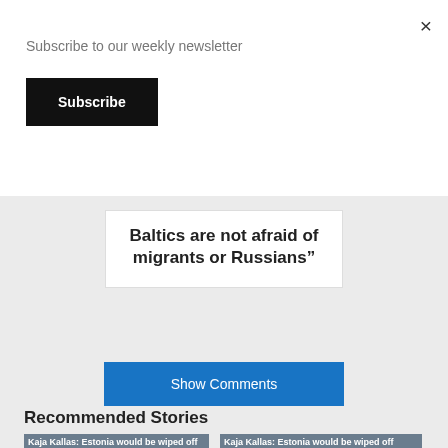Subscribe to our weekly newsletter
Subscribe
×
Baltics are not afraid of migrants or Russians”
Show Comments
Recommended Stories
[Figure (photo): Kaja Kallas photo with flags, card: Kaja Kallas: Estonia would be wiped off]
[Figure (photo): Kaja Kallas photo with flags, card: Kaja Kallas: Estonia would be wiped off]